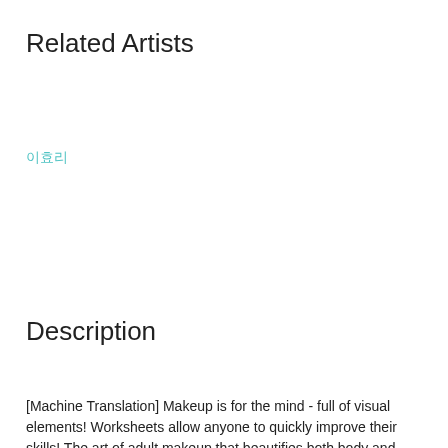Related Artists
이효리
Description
[Machine Translation] Makeup is for the mind - full of visual elements! Worksheets allow anyone to quickly improve their skills! The art of adult makeup that beautifies both body and soul.
Translate Description
*As it is a machine translation, the result may not provide an accurate description. Please use it only as a reference. *Not available within the China mainland region.